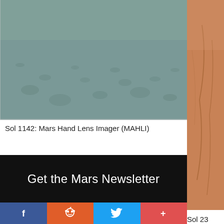[Figure (photo): Close-up surface photo of Mars showing fine-grained bluish-grey soil/rock texture — MAHLI camera image from Sol 1142]
Sol 1142: Mars Hand Lens Imager (MAHLI)
[Figure (photo): Partial view of orange-tan Mars rock/surface image on right side, with Sol 23 caption partially visible]
Sol 23
Get the Mars Newsletter
f
reddit icon
twitter bird icon
+